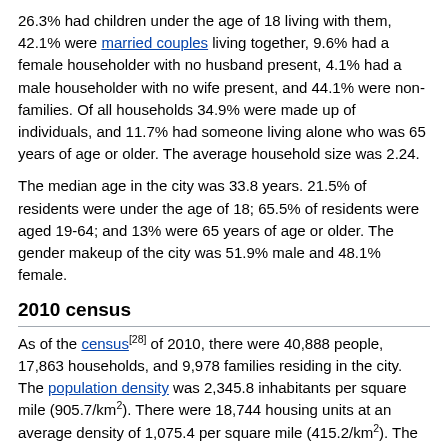26.3% had children under the age of 18 living with them, 42.1% were married couples living together, 9.6% had a female householder with no husband present, 4.1% had a male householder with no wife present, and 44.1% were non-families. Of all households 34.9% were made up of individuals, and 11.7% had someone living alone who was 65 years of age or older. The average household size was 2.24.
The median age in the city was 33.8 years. 21.5% of residents were under the age of 18; 65.5% of residents were aged 19-64; and 13% were 65 years of age or older. The gender makeup of the city was 51.9% male and 48.1% female.
2010 census
As of the census[28] of 2010, there were 40,888 people, 17,863 households, and 9,978 families residing in the city. The population density was 2,345.8 inhabitants per square mile (905.7/km²). There were 18,744 housing units at an average density of 1,075.4 per square mile (415.2/km²). The racial makeup of the city was 90.2% White, 2.3% African American, 3.2% Native American, 0.9% Asian, 0.1% Pacific Islander, 0.6% from other races, and 2.7% from two or more races. Hispanic or Latino of any race were 2.7% of the population.